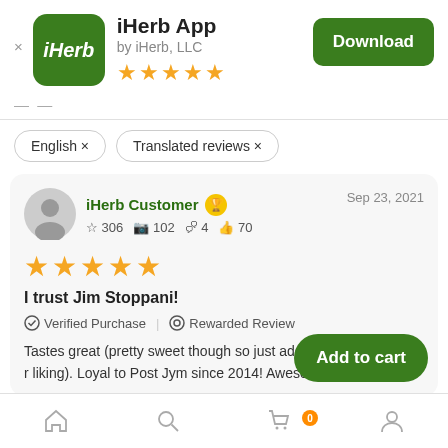iHerb App
by iHerb, LLC
★★★★★
Download
English ×
Translated reviews ×
iHerb Customer
Sep 23, 2021
☆ 306  📷 102  💬 4  👍 70
★★★★★
I trust Jim Stoppani!
✓ Verified Purchase | ⊙ Rewarded Review
Tastes great (pretty sweet though so just add mor... r liking). Loyal to Post Jym since 2014! Awesome ingredients.
Add to cart